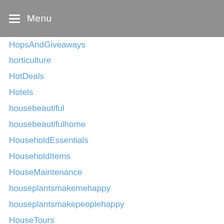Menu
HopsAndGiveaways
horticulture
HotDeals
Hotels
housebeautiful
housebeautifulhome
HouseholdEssentials
HouseholdItems
HouseMaintenance
houseplantsmakemehappy
houseplantsmakepeoplehappy
HouseTours
HouseWithCommandBlock
HouseWithNoName
HouseWithRiverForSaleInBrittany
HowTo
HowToChooseColour